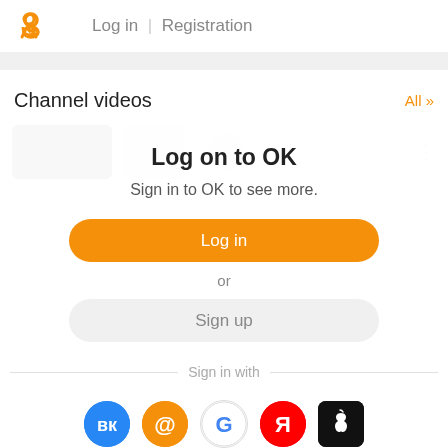Log in | Registration
Channel videos
[Figure (screenshot): Partially visible video thumbnail strip with three items and a vertical dots menu]
Log on to OK
Sign in to OK to see more.
Log in
or
Sign up
Sign in with
[Figure (infographic): Row of social login icons: VK (blue), Mail.ru (orange @), Google (G), Yandex (Я, red), Apple (black)]